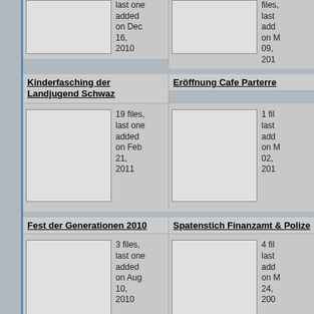[Figure (screenshot): Top partial album row with thumbnail and file info: last one added on Dec 16, 2010 (left); partial right column with last added on Dec 09, 201...]
Kinderfasching der Landjugend Schwaz
Eröffnung Cafe Parterre
[Figure (photo): Album thumbnail placeholder for Kinderfasching der Landjugend Schwaz]
19 files, last one added on Feb 21, 2011
1 fil... last add... on M... 02, 201...
[Figure (photo): Album thumbnail placeholder for Eröffnung Cafe Parterre]
Fest der Generationen 2010
Spatenstich Finanzamt & Polize...
[Figure (photo): Album thumbnail placeholder for Fest der Generationen 2010]
3 files, last one added on Aug 10, 2010
4 fil... last add... on M... 24, 200...
[Figure (photo): Album thumbnail placeholder for Spatenstich Finanzamt & Polize]
Silbersommer 2010
Gaszlfest
22 files, last one...
5 fil... last...